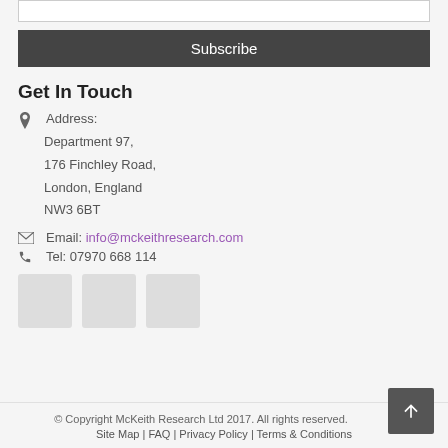Subscribe
Get In Touch
Address: Department 97, 176 Finchley Road, London, England NW3 6BT
Email: info@mckeithresearch.com
Tel: 07970 668 114
[Figure (other): Three grey social media icon placeholder boxes]
© Copyright McKeith Research Ltd 2017. All rights reserved. Site Map | FAQ | Privacy Policy | Terms & Conditions